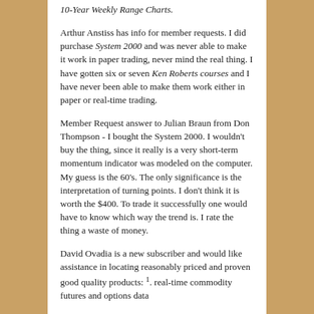10-Year Weekly Range Charts.
Arthur Anstiss has info for member requests. I did purchase System 2000 and was never able to make it work in paper trading, never mind the real thing. I have gotten six or seven Ken Roberts courses and I have never been able to make them work either in paper or real-time trading.
Member Request answer to Julian Braun from Don Thompson - I bought the System 2000. I wouldn't buy the thing, since it really is a very short-term momentum indicator was modeled on the computer. My guess is the 60's. The only significance is the interpretation of turning points. I don't think it is worth the $400. To trade it successfully one would have to know which way the trend is. I rate the thing a waste of money.
David Ovadia is a new subscriber and would like assistance in locating reasonably priced and proven good quality products: 1. real-time commodity futures and options data